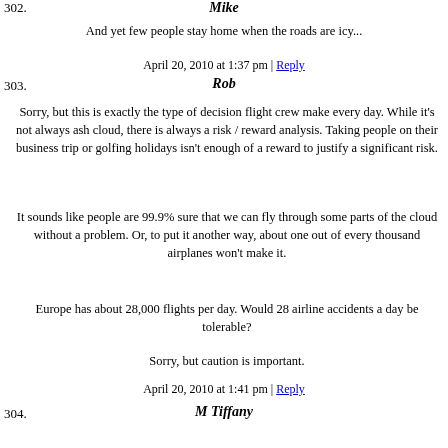302.
Mike
And yet few people stay home when the roads are icy...
April 20, 2010 at 1:37 pm | Reply
303.
Rob
Sorry, but this is exactly the type of decision flight crew make every day. While it's not always ash cloud, there is always a risk / reward analysis. Taking people on their business trip or golfing holidays isn't enough of a reward to justify a significant risk.
It sounds like people are 99.9% sure that we can fly through some parts of the cloud without a problem. Or, to put it another way, about one out of every thousand airplanes won't make it.
Europe has about 28,000 flights per day. Would 28 airline accidents a day be tolerable?
Sorry, but caution is important.
April 20, 2010 at 1:41 pm | Reply
304.
M Tiffany